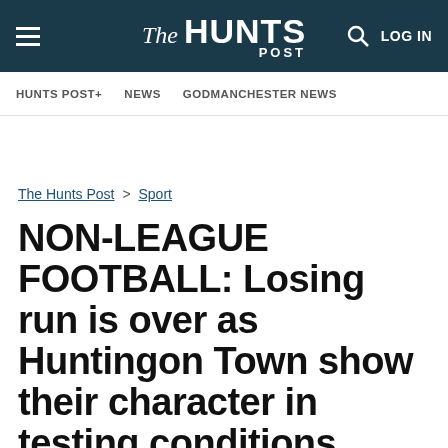The Hunts POST — LOG IN
HUNTS POST+ | NEWS | GODMANCHESTER NEWS
The Hunts Post > Sport
NON-LEAGUE FOOTBALL: Losing run is over as Huntingon Town show their character in testing conditions